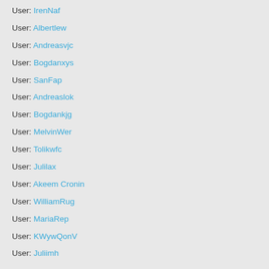User: IrenNaf
User: Albertlew
User: Andreasvjc
User: Bogdanxys
User: SanFap
User: Andreaslok
User: Bogdankjg
User: MelvinWer
User: Tolikwfc
User: Julilax
User: Akeem Cronin
User: WilliamRug
User: MariaRep
User: KWywQonV
User: Juliimh